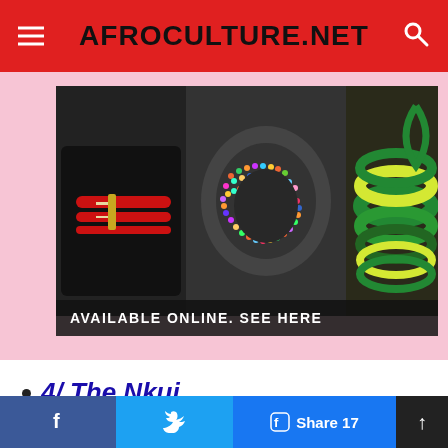AFROCULTURE.NET
[Figure (photo): African jewelry and bracelets displayed on pink background with 'AVAILABLE ONLINE. SEE HERE' banner]
4/ The Nkui.
[Figure (photo): Food photo showing white dumplings in a glass bowl with a small bowl of sauce, on a wooden surface]
Facebook share | Twitter share | Share 17 | Scroll to top